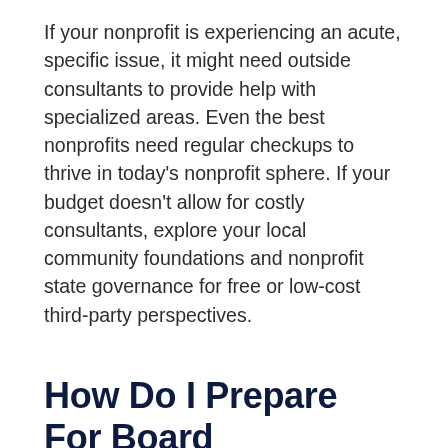If your nonprofit is experiencing an acute, specific issue, it might need outside consultants to provide help with specialized areas. Even the best nonprofits need regular checkups to thrive in today's nonprofit sphere. If your budget doesn't allow for costly consultants, explore your local community foundations and nonprofit state governance for free or low-cost third-party perspectives.
How Do I Prepare For Board Evaluations?
Now that you have an idea of what kind of assessment you want to do and who might do it, you're probably wondering how to prepare for the